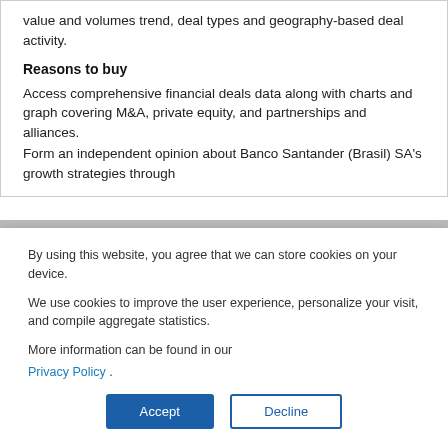value and volumes trend, deal types and geography-based deal activity.
Reasons to buy
Access comprehensive financial deals data along with charts and graph covering M&A, private equity, and partnerships and alliances.
Form an independent opinion about Banco Santander (Brasil) SA's growth strategies through
By using this website, you agree that we can store cookies on your device.

We use cookies to improve the user experience, personalize your visit, and compile aggregate statistics.

More information can be found in our Privacy Policy .